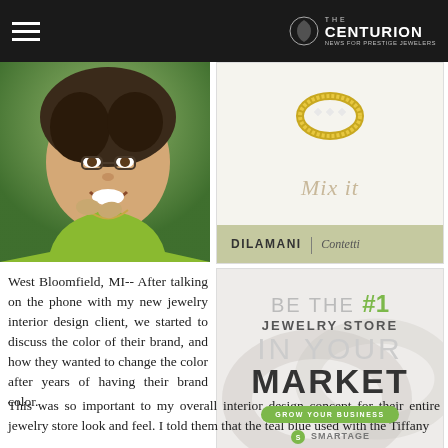THE CENTURION — NEWS FOR PRESTIGE JEWELERS
[Figure (photo): Woman smiling wearing a green cardigan and layered necklaces, laughing outdoors]
[Figure (illustration): Dilamani Contetti advertisement showing a gold ring with 'Mix it' text and brand name at bottom on sage green background]
[Figure (illustration): Smartage advertisement: 'BE THE #1 JEWELRY STORE IN YOUR MARKET — GROW YOUR BUSINESS — SMARTAGE' on light grey background with rings]
West Bloomfield, MI-- After talking on the phone with my new jewelry interior design client, we started to discuss the color of their brand, and how they wanted to change the color after years of having their brand color.
This was so important to my overall interior design concept for their entire jewelry store look and feel. I told them that the teal blue used with the Tiffany